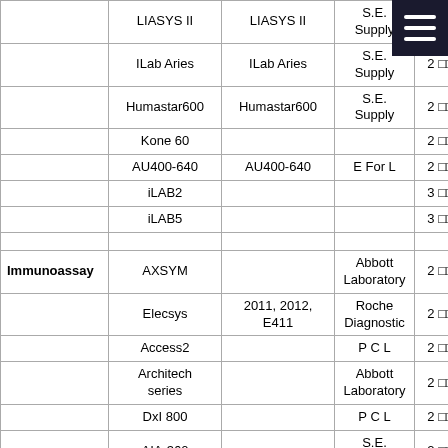|  | Instrument | Model | Manufacturer/Supplier | No. |
| --- | --- | --- | --- | --- |
|  | LIASYS II | LIASYS II | S.E. Supply | 2 □□□ |
|  | ILab Aries | ILab Aries | S.E. Supply | 2 □□□ |
|  | Humastar600 | Humastar600 | S.E. Supply | 2 □□□ |
|  | Kone 60 |  |  | 2 □□□ |
|  | AU400-640 | AU400-640 | E For L | 2 □□□ |
|  | iLAB2 |  |  | 3 □□□ |
|  | iLAB5 |  |  | 3 □□□ |
|  |  |  |  |  |
| Immunoassay | AXSYM |  | Abbott Laboratory | 2 □□□ |
|  | Elecsys | 2011, 2012, E411 | Roche Diagnostic | 2 □□□ |
|  | Access2 |  | P C L | 2 □□□ |
|  | Architech series |  | Abbott Laboratory | 2 □□□ |
|  | DxI 800 |  | P C L | 2 □□□ |
|  | AIA-360 |  | S.E. Supply | 2 □□□ |
|  |  |  |  |  |